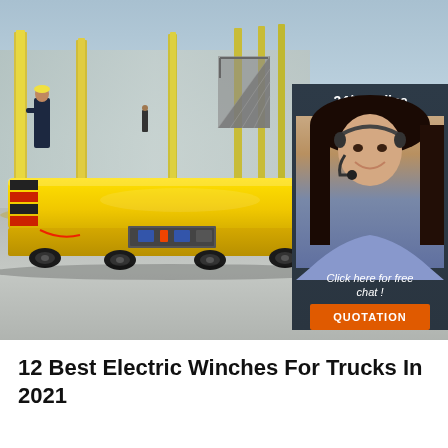[Figure (photo): Yellow electric flat transfer cart/trolley in a large industrial warehouse with high ceilings, yellow structural columns, and workers visible in background. A 24/7 online chat widget with a female customer service representative wearing a headset is overlaid on the right side of the image, with a 'QUOTATION' button.]
12 Best Electric Winches For Trucks In 2021